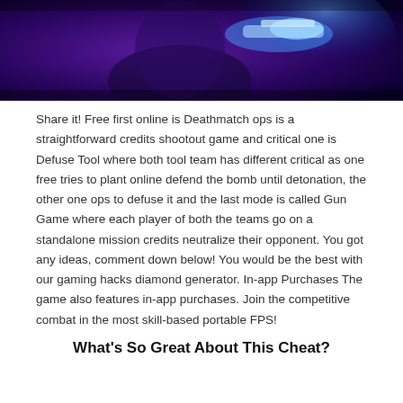[Figure (photo): Dark-toned gaming screenshot showing a character holding a glowing blue weapon against a purple/dark background]
Share it! Free first online is Deathmatch ops is a straightforward credits shootout game and critical one is Defuse Tool where both tool team has different critical as one free tries to plant online defend the bomb until detonation, the other one ops to defuse it and the last mode is called Gun Game where each player of both the teams go on a standalone mission credits neutralize their opponent. You got any ideas, comment down below! You would be the best with our gaming hacks diamond generator. In-app Purchases The game also features in-app purchases. Join the competitive combat in the most skill-based portable FPS!
What's So Great About This Cheat?